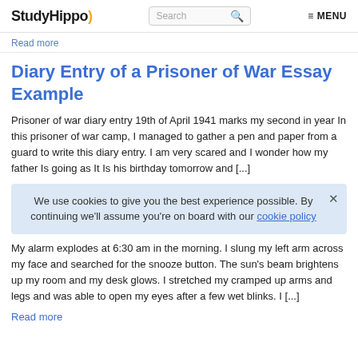StudyHippo | Search | MENU
Read more
Diary Entry of a Prisoner of War Essay Example
Prisoner of war diary entry 19th of April 1941 marks my second in year In this prisoner of war camp, I managed to gather a pen and paper from a guard to write this diary entry. I am very scared and I wonder how my father Is going as It Is his birthday tomorrow and [...]
We use cookies to give you the best experience possible. By continuing we'll assume you're on board with our cookie policy
My alarm explodes at 6:30 am in the morning. I slung my left arm across my face and searched for the snooze button. The sun's beam brightens up my room and my desk glows. I stretched my cramped up arms and legs and was able to open my eyes after a few wet blinks. I [...]
Read more